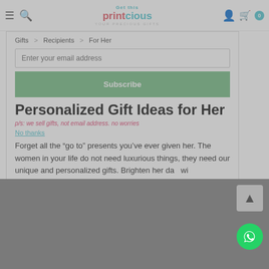[Figure (screenshot): E-commerce website screenshot for Printcious gift shop showing a popup newsletter/voucher overlay with navigation bar, logo, weekend super sale banner, email subscription form, and personalized gift ideas page content for her.]
Get this Printcious YOUR PRECIOUS GIFTS
CASH VOUCHER
WEEKEND SUPER SALE
for your next order
Shop now and get 60% OFF. Limited time offer.
Gifts > Recipients > For Her
Enter your email address
Subscribe
Personalized Gift Ideas for Her
p/s: we sell gifts, not email address. no worries
No thanks
Forget all the "go to" presents you've ever given her. The women in your life do not need luxurious things, they need our unique and personalized gifts. Brighten her da...
Read More